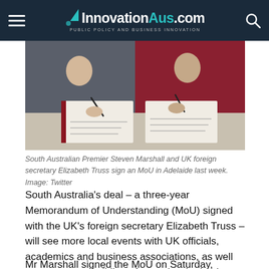InnovationAus.com PUBLIC POLICY AND BUSINESS INNOVATION
[Figure (photo): South Australian Premier Steven Marshall and UK foreign secretary Elizabeth Truss signing documents at a desk]
South Australian Premier Steven Marshall and UK foreign secretary Elizabeth Truss sign an MoU in Adelaide last week. Image: Twitter
South Australia's deal – a three-year Memorandum of Understanding (MoU) signed with the UK's foreign secretary Elizabeth Truss – will see more local events with UK officials, academics and business associations, as well as awareness building of cross border business opportunities, according to the Premier.
Mr Marshall signed the MoU on Saturday, issuing